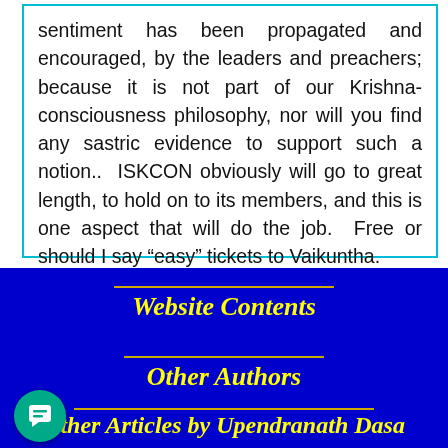sentiment has been propagated and encouraged, by the leaders and preachers; because it is not part of our Krishna-consciousness philosophy, nor will you find any sastric evidence to support such a notion..  ISKCON obviously will go to great length, to hold on to its members, and this is one aspect that will do the job.  Free or should I say “easy” tickets to Vaikuntha.
Website Contents
Other Authors
Other Articles by Upendranath Dasa